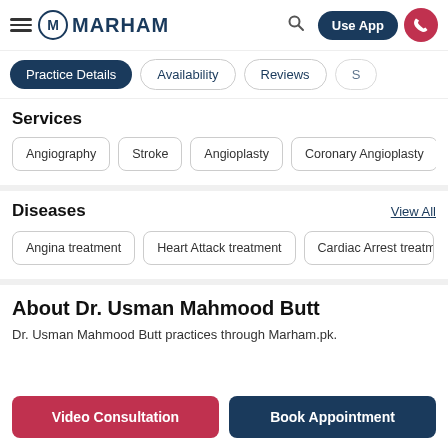MARHAM — Use App
Practice Details | Availability | Reviews | S
Services
Angiography
Stroke
Angioplasty
Coronary Angioplasty
Diseases
View All
Angina treatment
Heart Attack treatment
Cardiac Arrest treatm
About Dr. Usman Mahmood Butt
Dr. Usman Mahmood Butt practices through Marham.pk.
Video Consultation
Book Appointment